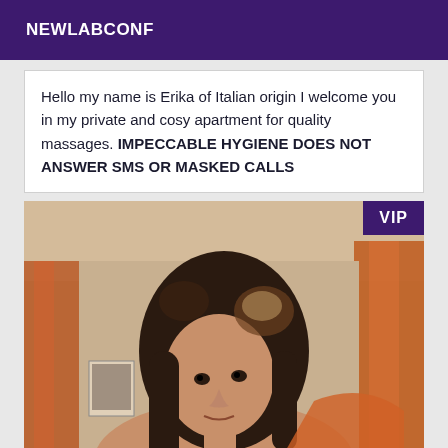NEWLABCONF
Hello my name is Erika of Italian origin I welcome you in my private and cosy apartment for quality massages. IMPECCABLE HYGIENE DOES NOT ANSWER SMS OR MASKED CALLS
[Figure (photo): Portrait photo of a woman with dark curly hair looking at the camera, with orange/red fabric in the background. A VIP badge appears in the top-right corner.]